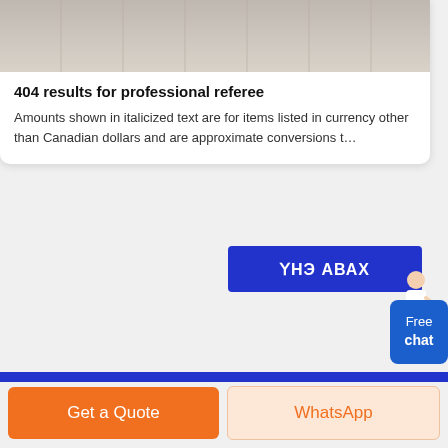[Figure (photo): Partial product/warehouse image cropped at top]
404 results for professional referee
Amounts shown in italicized text are for items listed in currency other than Canadian dollars and are approximate conversions t...
[Figure (other): Blue button with Cyrillic text YHЭ ABAX and assistant figure]
[Figure (photo): Factory/workshop interior showing industrial cone crushers on a production floor]
Get a Quote
WhatsApp